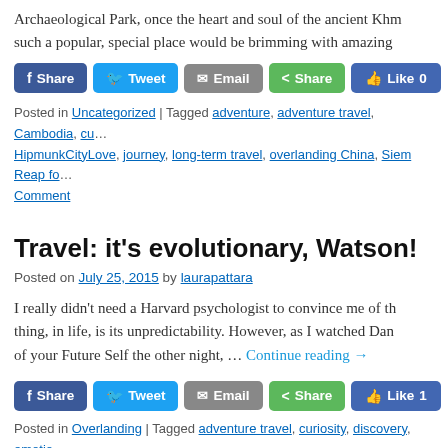Archaeological Park, once the heart and soul of the ancient Khm... such a popular, special place would be brimming with amazing
[Figure (infographic): Social share buttons: Facebook Share, Tweet, Email, Share (green), Like 0 (blue)]
Posted in Uncategorized | Tagged adventure, adventure travel, Cambodia, cu... HipmunkCityLove, journey, long-term travel, overlanding China, Siem Reap fo... Comment
Travel: it’s evolutionary, Watson!
Posted on July 25, 2015 by laurapattara
I really didn’t need a Harvard psychologist to convince me of th... thing, in life, is its unpredictability. However, as I watched Dan... of your Future Self the other night, … Continue reading →
[Figure (infographic): Social share buttons: Facebook Share, Tweet, Email, Share (green), Like 1 (blue)]
Posted in Overlanding | Tagged adventure travel, curiosity, discovery, emotio... long-term travel, travel guide, travel writing, world trip | 5 Comments